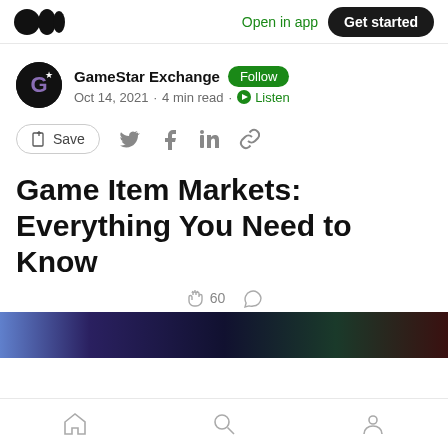Open in app  Get started
GameStar Exchange  Follow
Oct 14, 2021 · 4 min read · Listen
Save
Game Item Markets: Everything You Need to Know
60
[Figure (photo): Partial hero image strip at bottom of article preview, colorful gradient with dark tones]
Home  Search  Profile